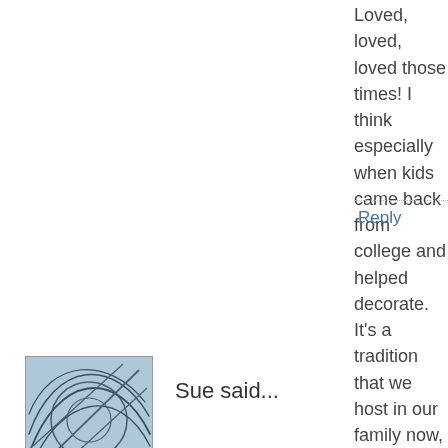Loved, loved, loved those times! I think esp came back from college and helped decora that we host in our family now, too. I, too,th is key!! Yum! and Fun!
Reply
[Figure (photo): Avatar image with abstract dark line sketch on light blue background]
Sue said...
Personally, I have always felt that cutout co relies on a bit of *lemon* flavoring, myself. and royal icing, please. :^)
Reply
[Figure (photo): Avatar image with abstract red/pink line sketch on white background]
Lea Culp said...